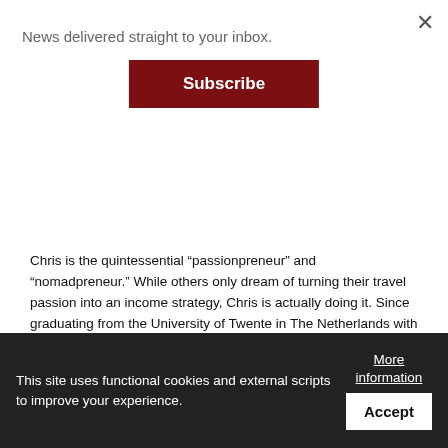News delivered straight to your inbox.
Subscribe
Chris is the quintessential “passionpreneur” and “nomadpreneur.” While others only dream of turning their travel passion into an income strategy, Chris is actually doing it. Since graduating from the University of Twente in The Netherlands with a degree in Chemical Engineering, a minor in Entrepreneurship and one in IT, he’s never worked for anyone—and, instead has been able to
This site uses functional cookies and external scripts to improve your experience.
More information
Accept